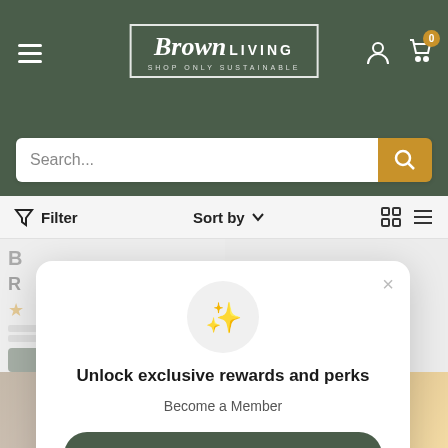[Figure (screenshot): Brown Living e-commerce website header with dark green background, hamburger menu, Brown Living logo, user and cart icons]
Search...
Filter   Sort by   (grid/list view icons)
[Figure (screenshot): Modal popup overlay on e-commerce page with sparkle emoji icon, membership signup prompt, Sign me up button, and Sign in link]
Unlock exclusive rewards and perks
Become a Member
Sign me up!
Already have an account? Sign in